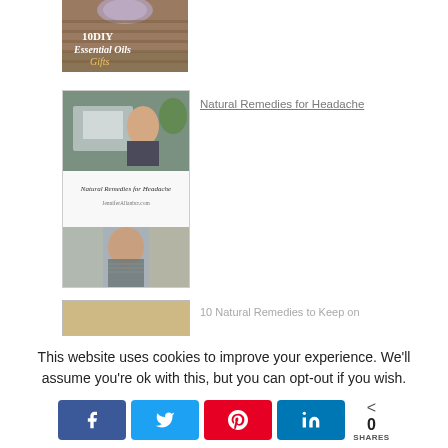[Figure (illustration): Partial book cover image showing '10 DIY Essential Oils Gifts' with decorative background]
[Figure (illustration): Book cover 'Natural Remedies for Headache' showing woman at laptop holding head and man with headache]
Natural Remedies for Headache
[Figure (illustration): Partially visible image for '10 Natural Remedies to Keep on']
10 Natural Remedies to Keep on
This website uses cookies to improve your experience. We'll assume you're ok with this, but you can opt-out if you wish.
0 SHARES